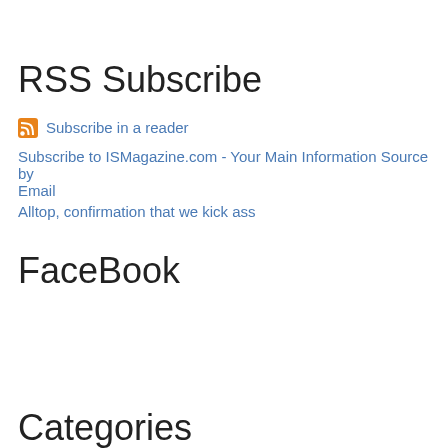RSS Subscribe
Subscribe in a reader
Subscribe to ISMagazine.com - Your Main Information Source by Email
Alltop, confirmation that we kick ass
FaceBook
Categories